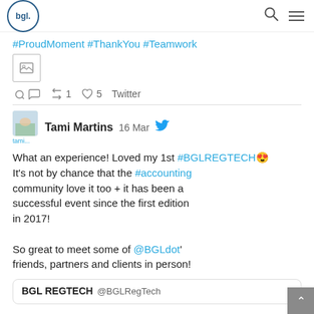bgl. [logo] [search icon] [menu icon]
#ProudMoment #ThankYou #Teamwork
[Figure (photo): Image placeholder thumbnail]
1  5  Twitter
Tami Martins  16 Mar
What an experience! Loved my 1st #BGLREGTECH😍 It's not by chance that the #accounting community love it too + it has been a successful event since the first edition in 2017!

So great to meet some of @BGLdot' friends, partners and clients in person!
BGL REGTECH @BGLRegTech